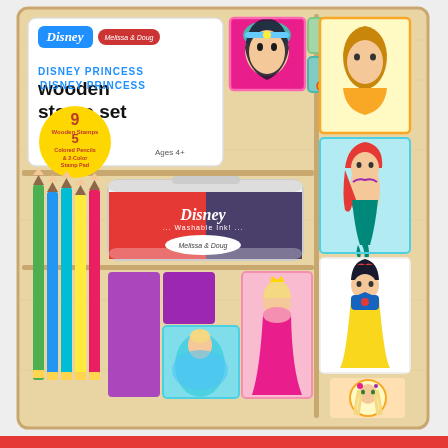[Figure (photo): Disney Princess Wooden Stamp Set product photo by Melissa & Doug. Shows a wooden box containing: 9 wooden princess stamps (Jasmine, Belle, Ariel, Snow White, Rapunzel, Cinderella, Aurora), 5 colored pencils, a 2-color Disney washable ink stamp pad (red and purple). The box has compartments displaying the stamps and pencils. The product box label shows Disney and Melissa & Doug logos, the product name, and a yellow badge noting 9 Wooden Stamps, 5 Colored Pencils & 2-Color Stamp Pad.]